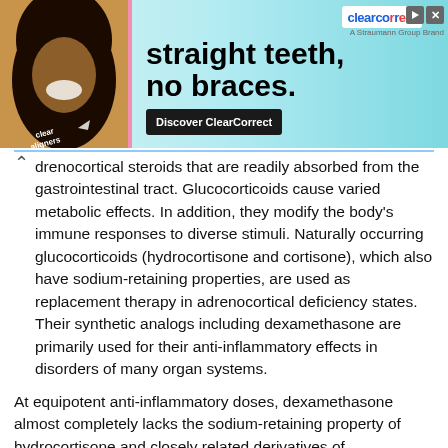[Figure (photo): Advertisement banner for ClearCorrect clear aligners showing a smiling woman, text 'straight teeth, no braces.' and 'Discover ClearCorrect' button]
drenocortical steroids that are readily absorbed from the gastrointestinal tract. Glucocorticoids cause varied metabolic effects. In addition, they modify the body's immune responses to diverse stimuli. Naturally occurring glucocorticoids (hydrocortisone and cortisone), which also have sodium-retaining properties, are used as replacement therapy in adrenocortical deficiency states. Their synthetic analogs including dexamethasone are primarily used for their anti-inflammatory effects in disorders of many organ systems.
At equipotent anti-inflammatory doses, dexamethasone almost completely lacks the sodium-retaining property of hydrocortisone and closely related derivatives of hydrocortisone.
ALLERGIC STATES